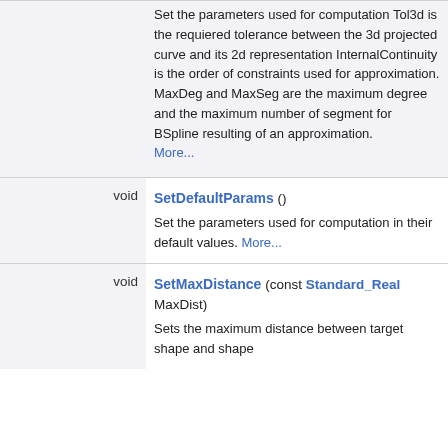| type | method / description |
| --- | --- |
|  | Set the parameters used for computation Tol3d is the requiered tolerance between the 3d projected curve and its 2d representation InternalContinuity is the order of constraints used for approximation. MaxDeg and MaxSeg are the maximum degree and the maximum number of segment for BSpline resulting of an approximation. More... |
| void | SetDefaultParams () Set the parameters used for computation in their default values. More... |
| void | SetMaxDistance (const Standard_Real MaxDist) Sets the maximum distance between target shape and shape |